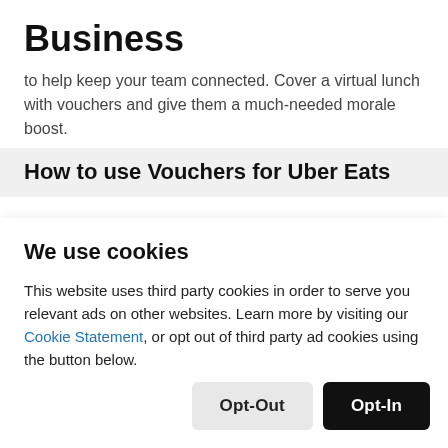Business
to help keep your team connected. Cover a virtual lunch with vouchers and give them a much-needed morale boost.
How to use Vouchers for Uber Eats
We use cookies
This website uses third party cookies in order to serve you relevant ads on other websites. Learn more by visiting our Cookie Statement, or opt out of third party ad cookies using the button below.